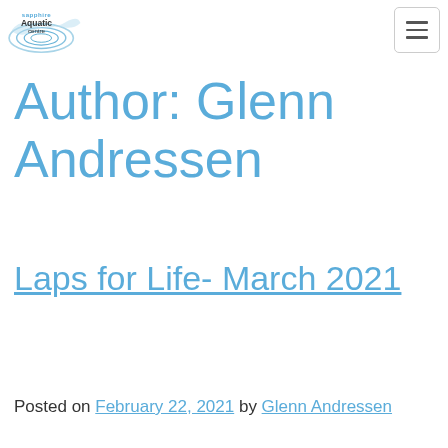Sapphire Aquatic Centre logo and navigation menu
Author: Glenn Andressen
Laps for Life- March 2021
Posted on February 22, 2021 by Glenn Andressen